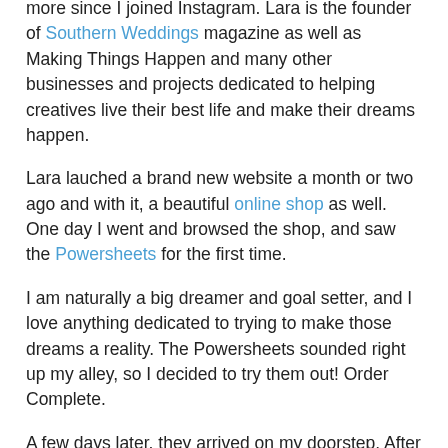more since I joined Instagram. Lara is the founder of Southern Weddings magazine as well as Making Things Happen and many other businesses and projects dedicated to helping creatives live their best life and make their dreams happen.
Lara lauched a brand new website a month or two ago and with it, a beautiful online shop as well. One day I went and browsed the shop, and saw the Powersheets for the first time.
I am naturally a big dreamer and goal setter, and I love anything dedicated to trying to make those dreams a reality. The Powersheets sounded right up my alley, so I decided to try them out! Order Complete.
A few days later, they arrived on my doorstep. After finding an empty three ring binder, I sat down that afternoon to work through the Powersheets.
I can't even begin to describe what an incredible experience it was to work through the beginning of these Powersheets.